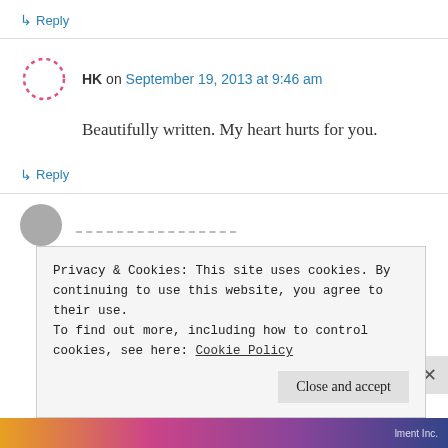↳ Reply
HK on September 19, 2013 at 9:46 am
Beautifully written. My heart hurts for you.
↳ Reply
Privacy & Cookies: This site uses cookies. By continuing to use this website, you agree to their use. To find out more, including how to control cookies, see here: Cookie Policy
Close and accept